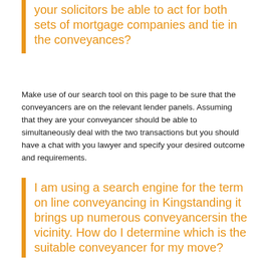your solicitors be able to act for both sets of mortgage companies and tie in the conveyances?
Make use of our search tool on this page to be sure that the conveyancers are on the relevant lender panels. Assuming that they are your conveyancer should be able to simultaneously deal with the two transactions but you should have a chat with you lawyer and specify your desired outcome and requirements.
I am using a search engine for the term on line conveyancing in Kingstanding it brings up numerous conveyancersin the vicinity. How do I determine which is the suitable conveyancer for my move?
The best method of seeking the right conveyancer is through a personal testimonial, so enquire of friends and relatives who have bought a property in Kingstanding or the reputable estate agent or mortgage broker. For references conveyancing in Kingstanding differ